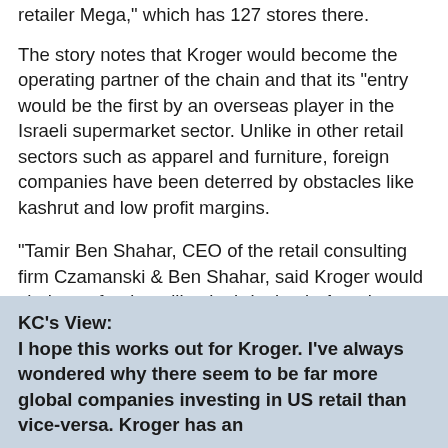retailer Mega," which has 127 stores there.
The story notes that Kroger would become the operating partner of the chain and that its "entry would be the first by an overseas player in the Israeli supermarket sector. Unlike in other retail sectors such as apparel and furniture, foreign companies have been deterred by obstacles like kashrut and low profit margins.
"Tamir Ben Shahar, CEO of the retail consulting firm Czamanski & Ben Shahar, said Kroger would shake up food retailing by bringing in American management practices and service."
KC's View:
I hope this works out for Kroger. I've always wondered why there seem to be far more global companies investing in US retail than vice-versa. Kroger has an